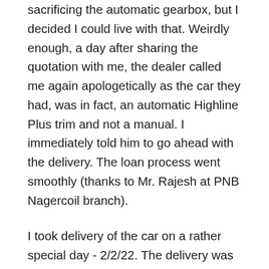sacrificing the automatic gearbox, but I decided I could live with that. Weirdly enough, a day after sharing the quotation with me, the dealer called me again apologetically as the car they had, was in fact, an automatic Highline Plus trim and not a manual. I immediately told him to go ahead with the delivery. The loan process went smoothly (thanks to Mr. Rajesh at PNB Nagercoil branch).
I took delivery of the car on a rather special day - 2/2/22. The delivery was quite eventful. There was cake and some sweets. The showroom staff were all wearing happy faces and were as excited as I was taking delivery of my first car. In fact, they cheered together as I started the car for the first time for the customary lemon squashing. Their excitement was definitely contagious! The bank manager, who was now my good friend, also asked to be present during delivery. My club neighbours, friends with the showroom staff and the